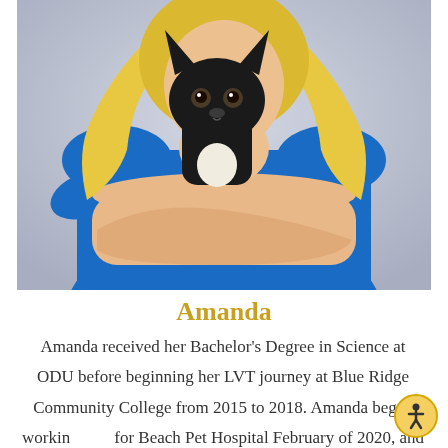[Figure (photo): A person wearing blue scrubs holding a small black Chihuahua dog. The person has long blonde hair. The background is light gray/lavender.]
Amanda
Amanda received her Bachelor's Degree in Science at ODU before beginning her LVT journey at Blue Ridge Community College from 2015 to 2018. Amanda began working for Beach Pet Hospital February of 2020, and